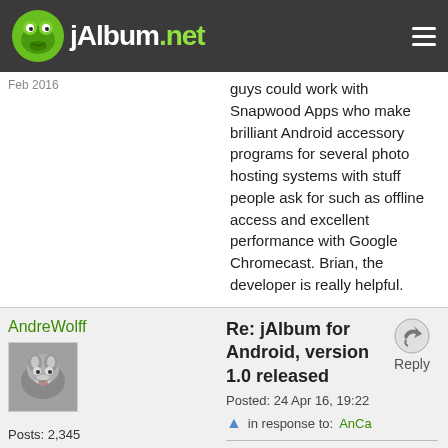jAlbum.net
guys could work with Snapwood Apps who make brilliant Android accessory programs for several photo hosting systems with stuff people ask for such as offline access and excellent performance with Google Chromecast. Brian, the developer is really helpful.

Edited by: jGromit - link removed.
Re: jAlbum for Android, version 1.0 released
Posted: 24 Apr 16, 19:22  in response to: AnCa
AndreWolff
Posts: 2,345
Registered: 14-Dec-2007
AnCa wrote:
Our first public version of the jAlbum for Android app has now been released! With the app you can
create web photo albums for your Premium or Power storage straight from your Android device